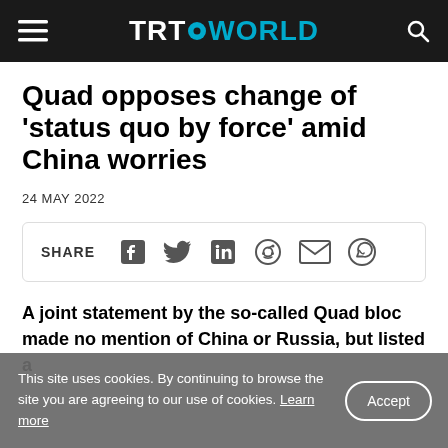TRT WORLD
Quad opposes change of 'status quo by force' amid China worries
24 MAY 2022
[Figure (infographic): Social share bar with icons for Facebook, Twitter, LinkedIn, Reddit, Email, WhatsApp]
A joint statement by the so-called Quad bloc made no mention of China or Russia, but listed a number of activities that Beijing has conducted…
This site uses cookies. By continuing to browse the site you are agreeing to our use of cookies. Learn more